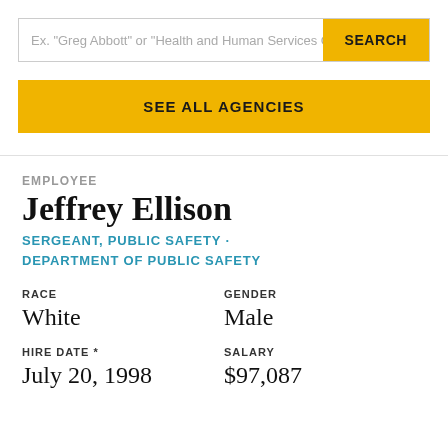Ex. "Greg Abbott" or "Health and Human Services C...
SEARCH
SEE ALL AGENCIES
EMPLOYEE
Jeffrey Ellison
SERGEANT, PUBLIC SAFETY · DEPARTMENT OF PUBLIC SAFETY
RACE
White
GENDER
Male
HIRE DATE *
July 20, 1998
SALARY
$97,087